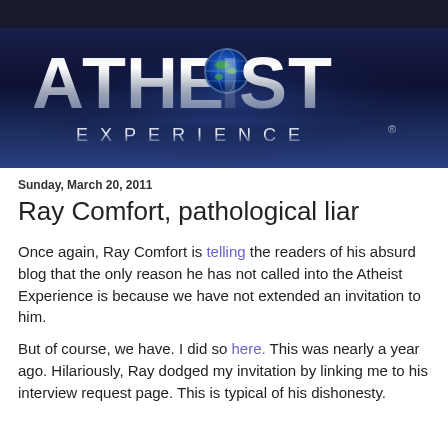[Figure (logo): Atheist Experience logo banner with metallic silver text on dark blue background with globe replacing the letter O]
Sunday, March 20, 2011
Ray Comfort, pathological liar
Once again, Ray Comfort is telling the readers of his absurd blog that the only reason he has not called into the Atheist Experience is because we have not extended an invitation to him.
But of course, we have. I did so here. This was nearly a year ago. Hilariously, Ray dodged my invitation by linking me to his interview request page. This is typical of his dishonesty.